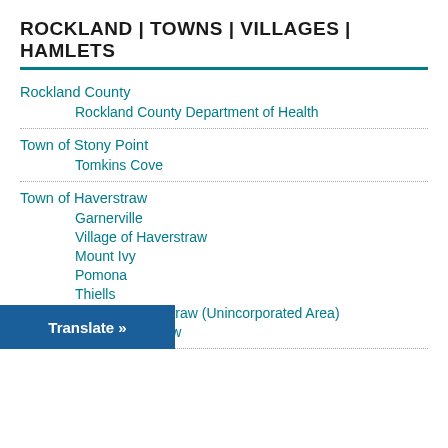ROCKLAND | TOWNS | VILLAGES | HAMLETS
Rockland County
Rockland County Department of Health
Town of Stony Point
Tomkins Cove
Town of Haverstraw
Garnerville
Village of Haverstraw
Mount Ivy
Pomona
Thiells
Town of Haverstraw (Unincorporated Area)
West Haverstraw
Translate »